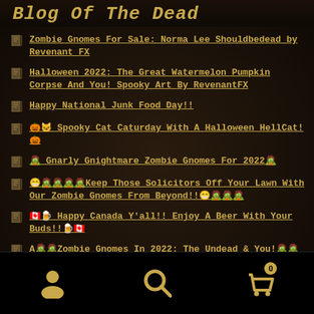Blog Of The Dead
Zombie Gnomes For Sale: Norma Lee Shouldbedead by Revenant FX
Halloween 2022: The Great Watermelon Pumpkin Corpse And You! Spooky Art By RevenantFX
Happy National Junk Food Day!!
🎃🐱 Spooky Cat Caturday With A Halloween HellCat!🎃
🧟 Gnarly Gnightmare Zombie Gnomes For 2022🧟
😁🧟🧟🧟🧟Keep Those Solicitors Off Your Lawn With Our Zombie Gnomes From Beyond!!😁🧟🧟🧟
🇨🇦🍺 Happy Canada Y'all!! Enjoy A Beer With Your Buds!!🍺🇨🇦
A🧟🧟Zombie Gnomes In 2022: The Undead & You!🧟🧟
Navigation bar with account, search, and cart icons